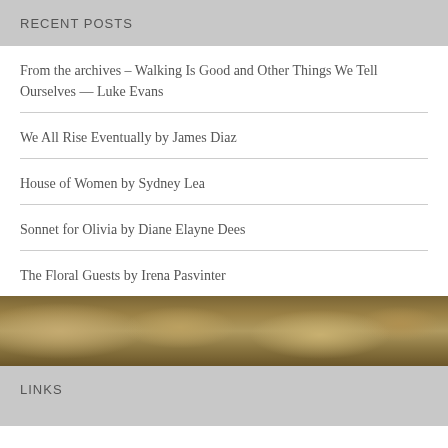RECENT POSTS
From the archives – Walking Is Good and Other Things We Tell Ourselves — Luke Evans
We All Rise Eventually by James Diaz
House of Women by Sydney Lea
Sonnet for Olivia by Diane Elayne Dees
The Floral Guests by Irena Pasvinter
[Figure (photo): A horizontal band showing a textured natural surface, appearing to be dried grass or straw in brown and tan tones.]
LINKS